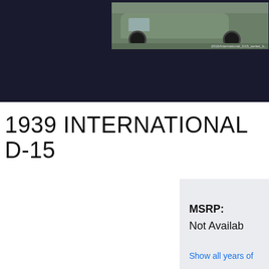[Figure (photo): Dark header bar with two photos: left shows a grey 1939 International D-15 van/truck parked outdoors, right shows a black and white newspaper/advertisement clipping featuring a vehicle]
1939 INTERNATIONAL D-15
MSRP:
Not Available
Show all years of